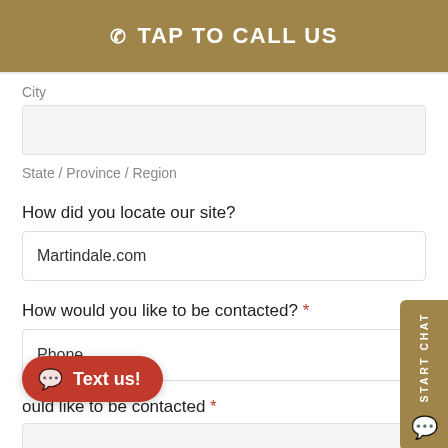TAP TO CALL US
City
State / Province / Region
How did you locate our site?
Martindale.com
How would you like to be contacted? *
Phone
Text us!
ould like to be contacted *